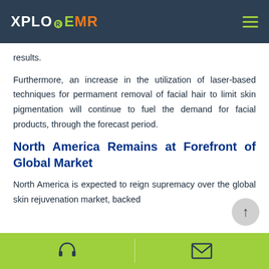XPLOREMR
results.
Furthermore, an increase in the utilization of laser-based techniques for permament removal of facial hair to limit skin pigmentation will continue to fuel the demand for facial products, through the forecast period.
North America Remains at Forefront of Global Market
North America is expected to reign supremacy over the global skin rejuvenation market, backed